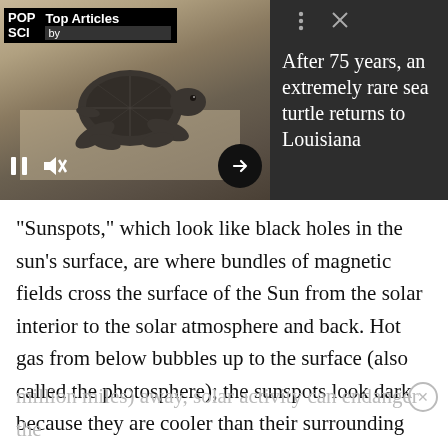[Figure (screenshot): Pop Sci Top Articles banner showing a baby sea turtle on sand, with playback controls (pause, mute, arrow), and article preview 'After 75 years, an extremely rare sea turtle returns to Louisiana' on dark background]
“Sunspots,” which look like black holes in the sun’s surface, are where bundles of magnetic fields cross the surface of the Sun from the solar interior to the solar atmosphere and back. Hot gas from below bubbles up to the surface (also called the photosphere); the sunspots look dark because they are cooler than their surrounding area. Eruptions from sunspots often shoot X-Rays and high-energy particles our way. Even though the sun is 150 million km (93 million miles) away, solar activity can endanger the